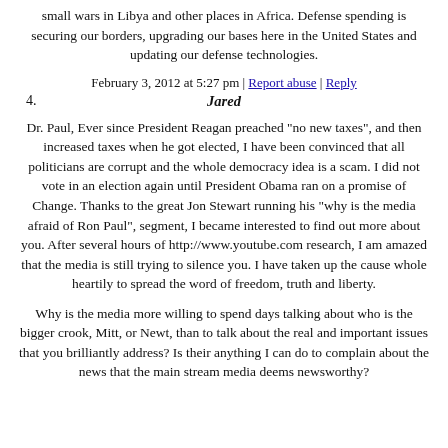small wars in Libya and other places in Africa. Defense spending is securing our borders, upgrading our bases here in the United States and updating our defense technologies.
February 3, 2012 at 5:27 pm | Report abuse | Reply
Jared
Dr. Paul, Ever since President Reagan preached "no new taxes", and then increased taxes when he got elected, I have been convinced that all politicians are corrupt and the whole democracy idea is a scam. I did not vote in an election again until President Obama ran on a promise of Change. Thanks to the great Jon Stewart running his "why is the media afraid of Ron Paul", segment, I became interested to find out more about you. After several hours of http://www.youtube.com research, I am amazed that the media is still trying to silence you. I have taken up the cause whole heartily to spread the word of freedom, truth and liberty.
Why is the media more willing to spend days talking about who is the bigger crook, Mitt, or Newt, than to talk about the real and important issues that you brilliantly address? Is their anything I can do to complain about the news that the main stream media deems newsworthy?